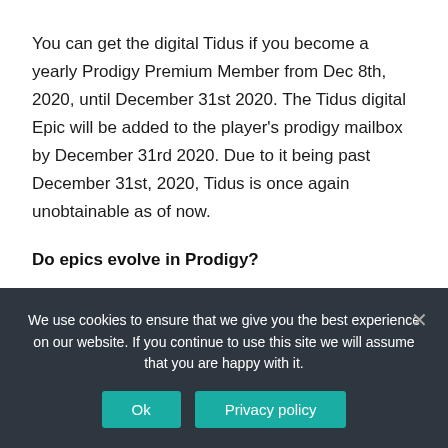You can get the digital Tidus if you become a yearly Prodigy Premium Member from Dec 8th, 2020, until December 31st 2020. The Tidus digital Epic will be added to the player's prodigy mailbox by December 31rd 2020. Due to it being past December 31st, 2020, Tidus is once again unobtainable as of now.
Do epics evolve in Prodigy?
We use cookies to ensure that we give you the best experience on our website. If you continue to use this site we will assume that you are happy with it.